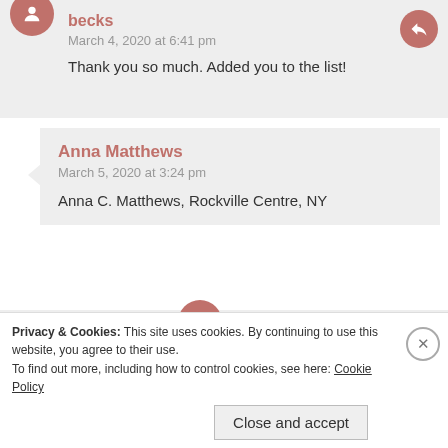becks
March 4, 2020 at 6:41 pm
Thank you so much. Added you to the list!
Anna Matthews
March 5, 2020 at 3:24 pm
Anna C. Matthews, Rockville Centre, NY
becks
Privacy & Cookies: This site uses cookies. By continuing to use this website, you agree to their use.
To find out more, including how to control cookies, see here: Cookie Policy
Close and accept